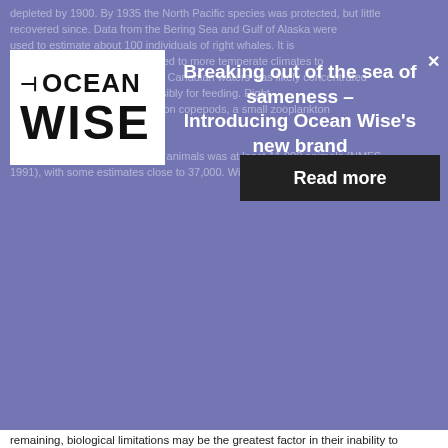[Figure (logo): Ocean Wise logo — white box with bold OCEAN WISE text and arrow icon]
Breaking out of the sea of sameness – Introducing Ocean Wise's new brand
depleted by 1900. By 1935 the North Pacific species was protected, but little recovered since. Data from the Bering Sea and Gulf of Alaska were used to estimate about 100 individuals of right whales. It is migratory, and the animals moved to more temperate climates to breed. Their presence in Pacific Canadian waters was likely concentrated during spring and summer, possibly for feeding. Right whales feed almost exclusively on copepods, a small zooplankton organism.
The original population of these animals was at least 11,000 animals (NMFS 1991), with some estimates close to 37,000. With so few animals now remaining, biological limitations may be the greatest factor in their inability to rebound. The lack of knowledge on the remaining right whales makes it unclear what other threats may be affecting their survival, though ship strike, entanglement, noise and pollution likely affect this population.
To begin, the draft Recovery Strategy emphasizes the need to confirm the presence of any North Pacific right whales in Canadian waters. Only upon confirming their presence can researchers begin to assess other aspects necessary for protection and recovery such as population structure, habitat needs and anthropogenic threats to survival.
You can help with the recovery of critically endangered species like the right whale by reporting any and all of your sightings of whale, dolphin, porpoise and sea turtles to the BC Cetacean Sightings Network here or by calling 1866 I SAW ONE. Determining presence and distribution is the crucial first step on a long road to recovery for many cetacean and sea turtle species.